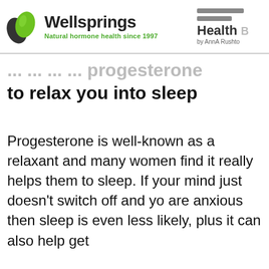[Figure (logo): Wellsprings logo with leaf icon and tagline 'Natural hormone health since 1997', alongside 'Health' book cover by AnnA Rushton]
...use bioidentical progesterone to relax you into sleep
Progesterone is well-known as a relaxant and many women find it really helps them to sleep. If your mind just doesn't switch off and you are anxious then sleep is even less likely, plus it can also help get